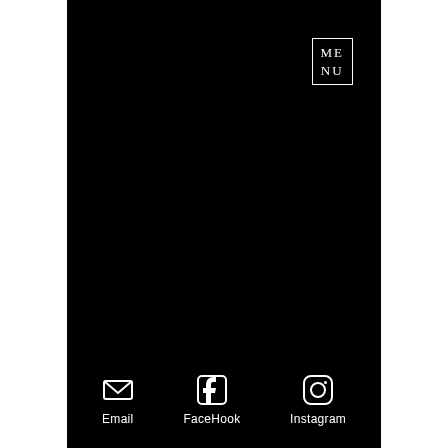ME NU
[Figure (other): Black background page with MENU box label in top right, and three social/contact icons at the bottom: Email (envelope), FaceHook (Facebook icon), Instagram (Instagram icon)]
Email
FaceHook
Instagram